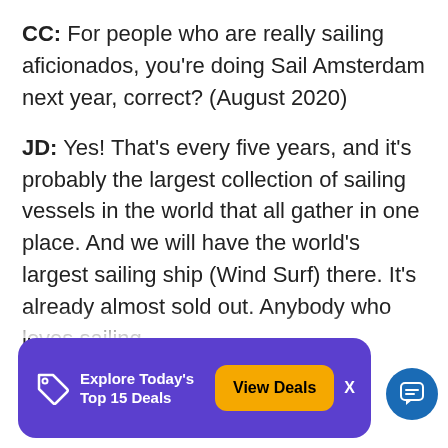CC: For people who are really sailing aficionados, you're doing Sail Amsterdam next year, correct? (August 2020)
JD: Yes! That's every five years, and it's probably the largest collection of sailing vessels in the world that all gather in one place. And we will have the world's largest sailing ship (Wind Surf) there. It's already almost sold out. Anybody who loves sailing, th...
[Figure (screenshot): Purple ad banner at bottom of screen with tag icon, text 'Explore Today's Top 15 Deals', an orange 'View Deals' button, an X close button, and a blue circular chat icon on the far right.]